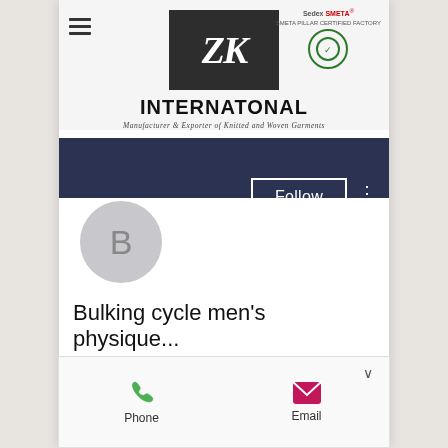[Figure (logo): ZK International logo with dark background showing stylized ZK letters, Sedex SMETA certification badge]
INTERNATONAL
Manufacturer & Exporter of Knitted and Woven Garments
[Figure (screenshot): Social media profile page with dark navy banner, Follow button, avatar circle with letter B]
Bulking cycle men's physique...
0 Followers • 0 Following
[Figure (infographic): Contact card with Phone (green icon) and Email (pink/magenta icon) options]